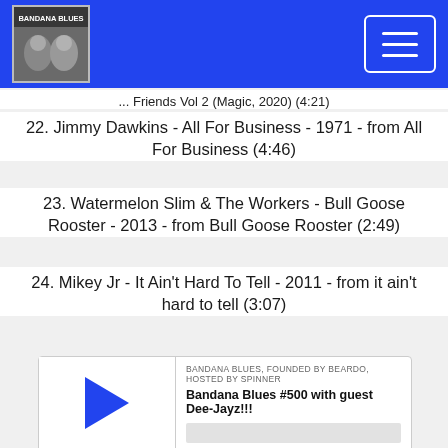BANDANA BLUES
... Friends Vol 2 (Magic, 2020) (4:21)
22. Jimmy Dawkins - All For Business - 1971 - from All For Business (4:46)
23. Watermelon Slim & The Workers - Bull Goose Rooster - 2013 - from Bull Goose Rooster (2:49)
24. Mikey Jr - It Ain't Hard To Tell - 2011 - from it ain't hard to tell (3:07)
[Figure (screenshot): Audio player widget for 'Bandana Blues #500 with guest Dee-Jayz!!!' podcast episode showing play button, progress bar, time 00:00:00, and control icons (RSS, download, embed, share)]